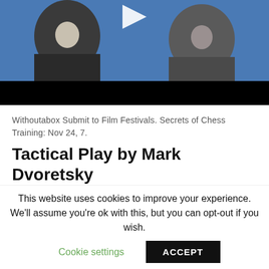[Figure (photo): Video thumbnail showing two men sitting against a blue background, with a play button at the top center and a black bar at the bottom.]
Withoutabox Submit to Film Festivals. Secrets of Chess Training: Nov 24, 7.
Tactical Play by Mark Dvoretsky
Sriramsuresh rated it really liked it Sep 30, Secrets of Chess
This website uses cookies to improve your experience. We'll assume you're ok with this, but you can opt-out if you wish.
Cookie settings    ACCEPT